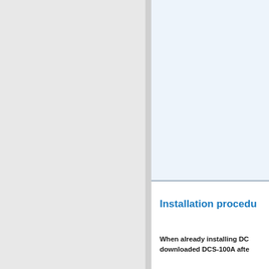[Figure (other): Light blue background panel occupying the upper right portion of the page, separated from the lower content by a horizontal gray line.]
Installation procedu
When already installing DC downloaded DCS-100A afte